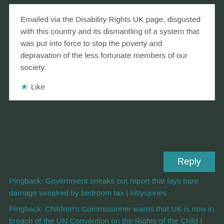Emailed via the Disability Rights UK page, disgusted with this country and its dismantling of a system that was put into force to stop the poverty and depravation of the less fortunate members of our society.
★ Like
Reply
Pingback: Government sneaks out report that lays bare damage wreaked by bedroom tax | kittysjones
Pingback: Children's Commissioner warns that UK is now in breach of the UN Convention on the Rights of the Child | Politics and Insights - kittysjones